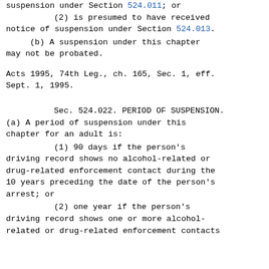suspension under Section 524.011; or
(2)  is presumed to have received notice of suspension under Section 524.013.
(b)  A suspension under this chapter may not be probated.
Acts 1995, 74th Leg., ch. 165, Sec. 1, eff. Sept. 1, 1995.
Sec. 524.022.  PERIOD OF SUSPENSION. (a)  A period of suspension under this chapter for an adult is:
(1)  90 days if the person's driving record shows no alcohol-related or drug-related enforcement contact during the 10 years preceding the date of the person's arrest;  or
(2)  one year if the person's driving record shows one or more alcohol-related or drug-related enforcement contacts